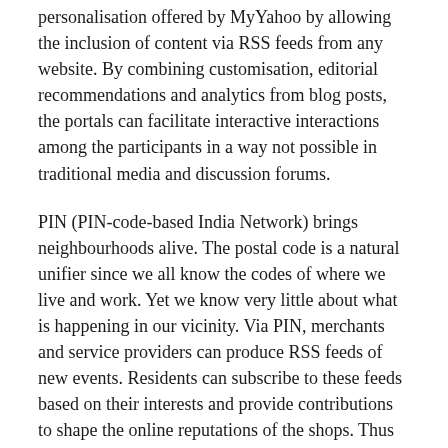personalisation offered by MyYahoo by allowing the inclusion of content via RSS feeds from any website. By combining customisation, editorial recommendations and analytics from blog posts, the portals can facilitate interactive interactions among the participants in a way not possible in traditional media and discussion forums.
PIN (PIN-code-based India Network) brings neighbourhoods alive. The postal code is a natural unifier since we all know the codes of where we live and work. Yet we know very little about what is happening in our vicinity. Via PIN, merchants and service providers can produce RSS feeds of new events. Residents can subscribe to these feeds based on their interests and provide contributions to shape the online reputations of the shops. Thus PIN provides a platform to create a two-way flow of information and experience.